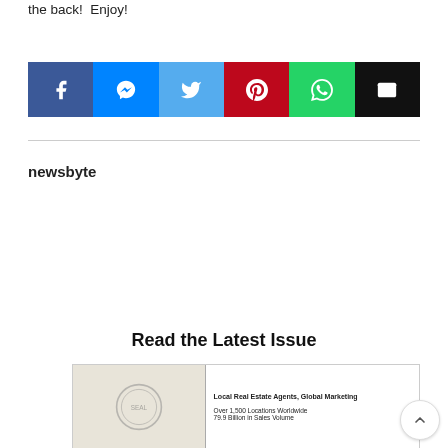the back!  Enjoy!
[Figure (infographic): Social share buttons row: Facebook (dark blue), Messenger (blue), Twitter (light blue), Pinterest (red), WhatsApp (green), Email (black)]
newsbyte
Read the Latest Issue
[Figure (photo): Newsletter thumbnail showing a real estate newsletter with text: Local Real Estate Agents, Global Marketing / Over 1,500 Locations Worldwide / 79.9 Billion in Sales Volume]